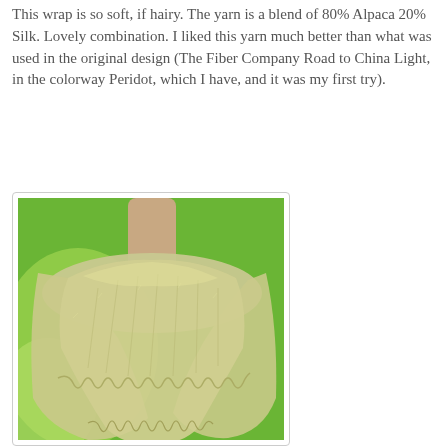This wrap is so soft, if hairy. The yarn is a blend of 80% Alpaca 20% Silk. Lovely combination. I liked this yarn much better than what was used in the original design (The Fiber Company Road to China Light, in the colorway Peridot, which I have, and it was my first try).
[Figure (photo): A soft knitted wrap/shawl in a pale sage/olive green color displayed on a dress form mannequin against a bright green background. The wrap has a lacy scalloped edge border and is arranged around the neck of the mannequin.]